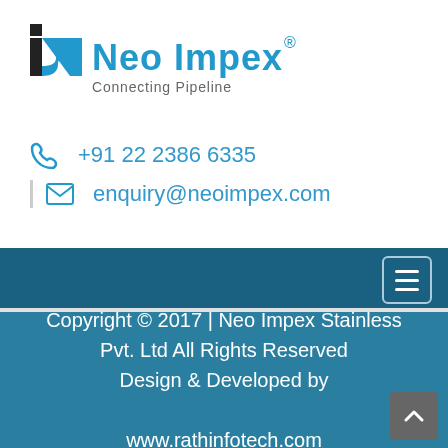[Figure (logo): Neo Impex logo with stylized 'N' icon in black and blue, company name 'Neo Impex' in blue with registered trademark symbol, tagline 'Connecting Pipeline' in gray]
+91 22 2386 6335
enquiry@neoimpex.com
[Figure (other): Dark teal navigation bar with hamburger menu icon (three horizontal lines) in a rounded rectangle button on the right side]
Copyright © 2017 | Neo Impex Stainless Pvt. Ltd All Rights Reserved Design & Developed by www.rathinfotech.com